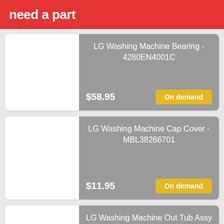need a part
LG Washing Machine Bearing - 4280EN4001C
$58.95
On demand
LG Washing Machine Cap Cover - MBL38266701
$11.95
On demand
LG Washing Machine Out Tub Assy - 3045ER0030F